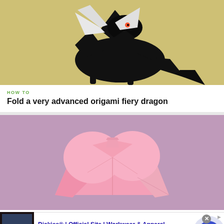[Figure (photo): Black origami dragon with white wings on a yellow-green background]
HOW TO
Fold a very advanced origami fiery dragon
[Figure (photo): Pink origami heart on a pink/purple background]
[Figure (other): Advertisement: Dickies® | Official Site | Workwear & Apparel. for work pants, work shirts, overalls, and coveralls. www.dickies.com]